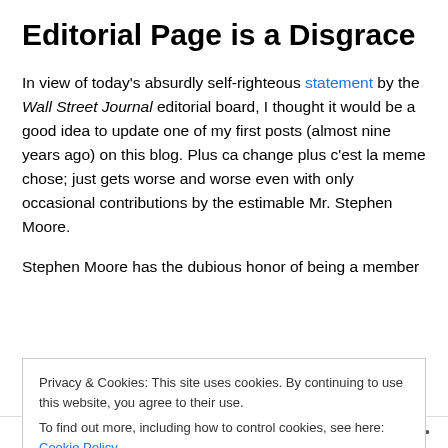Editorial Page is a Disgrace
In view of today’s absurdly self-righteous statement by the Wall Street Journal editorial board, I thought it would be a good idea to update one of my first posts (almost nine years ago) on this blog. Plus ca change plus c’est la meme chose; just gets worse and worse even with only occasional contributions by the estimable Mr. Stephen Moore.
Stephen Moore has the dubious honor of being a member
Privacy & Cookies: This site uses cookies. By continuing to use this website, you agree to their use.
To find out more, including how to control cookies, see here: Cookie Policy
Close and accept
Follow •••